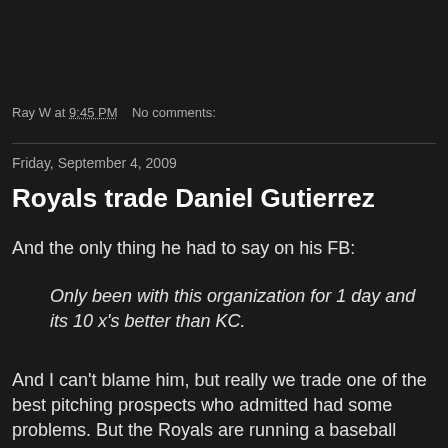Ray W at 9:45 PM    No comments:
Friday, September 4, 2009
Royals trade Daniel Gutierrez
And the only thing he had to say on his FB:
Only been with this organization for 1 day and its 10 x's better than KC.
And I can't blame him, but really we trade one of the best pitching prospects who admitted had some problems. But the Royals are running a baseball team not a church. I'm sorry but all that matters is WINNING !!!